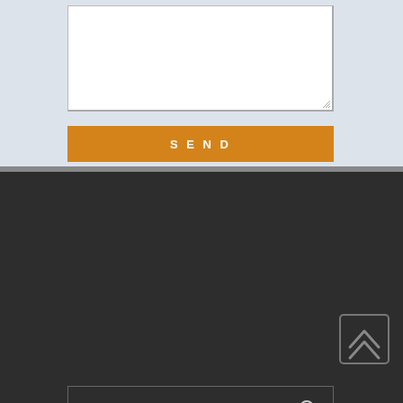[Figure (screenshot): Textarea input box (white, resizable) in a light blue-gray form section]
[Figure (screenshot): Orange SEND button below the textarea]
[Figure (screenshot): Dark footer section with a search bar containing 'Search...' placeholder text and a search icon]
[Figure (logo): Steve Beyer Productions logo — orange puzzle-piece play button icon with text 'stevebeyer PRODUCTIONS']
[Figure (screenshot): Scroll-to-top chevron icon (double arrow, dark outline) in bottom right]
[Figure (screenshot): Orange 'Message' chat button in bottom right corner]